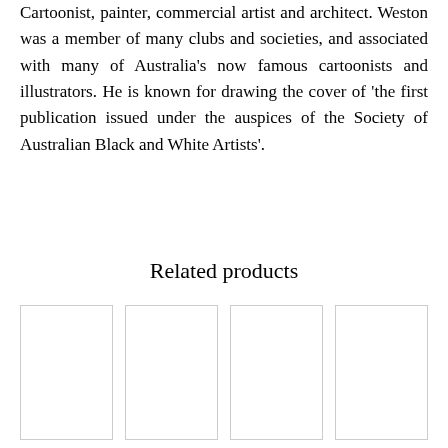Cartoonist, painter, commercial artist and architect. Weston was a member of many clubs and societies, and associated with many of Australia's now famous cartoonists and illustrators. He is known for drawing the cover of 'the first publication issued under the auspices of the Society of Australian Black and White Artists'.
Related products
[Figure (other): Four product image placeholder boxes arranged in a row]